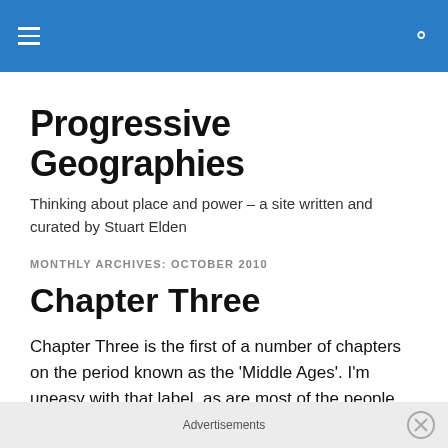Progressive Geographies – header navigation bar
Progressive Geographies
Thinking about place and power – a site written and curated by Stuart Elden
MONTHLY ARCHIVES: OCTOBER 2010
Chapter Three
Chapter Three is the first of a number of chapters on the period known as the 'Middle Ages'. I'm uneasy with that label, as are most of the people who work on the times
Advertisements